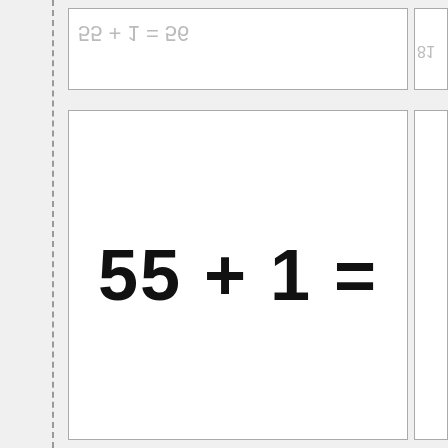55 + 1 = 56 (previous, shown mirrored/faded at top)
55 + 1 =